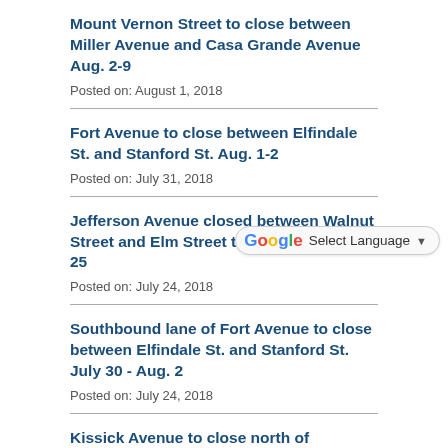Mount Vernon Street to close between Miller Avenue and Casa Grande Avenue Aug. 2-9
Posted on: August 1, 2018
Fort Avenue to close between Elfindale St. and Stanford St. Aug. 1-2
Posted on: July 31, 2018
[Figure (screenshot): Google Translate widget with 'Select Language' dropdown]
Jefferson Avenue closed between Walnut Street and Elm Street through 7 a.m. July 25
Posted on: July 24, 2018
Southbound lane of Fort Avenue to close between Elfindale St. and Stanford St. July 30 - Aug. 2
Posted on: July 24, 2018
Kissick Avenue to close north of Springfield Lake Bridge July 22-23
Posted on: July 19, 2018
Expect various closures on Jefferson Avenue near